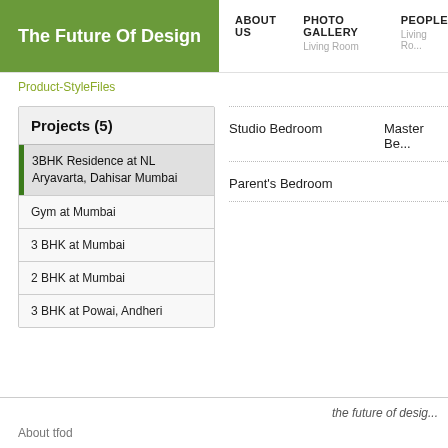The Future Of Design | ABOUT US | PHOTO GALLERY | PEOPLE | Living Room | Living Ro...
Product-StyleFiles
Studio Bedroom    Master Be...
Projects (5)
3BHK Residence at NL Aryavarta, Dahisar Mumbai
Gym at Mumbai
3 BHK at Mumbai
2 BHK at Mumbai
3 BHK at Powai, Andheri
Parent's Bedroom
the future of desig...
About tfod